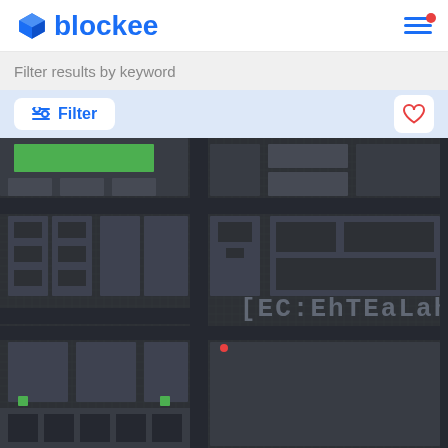blockee
Filter results by keyword
Filter
[Figure (screenshot): Top-down pixel/tile map of a dark urban block city grid. Green rectangular building at top left, maze-like city blocks, pixel text reading 'DECENTRALAND' in grey pixelated letters, small red dot marker in center, small green squares scattered around, all on dark charcoal background with grid lines.]